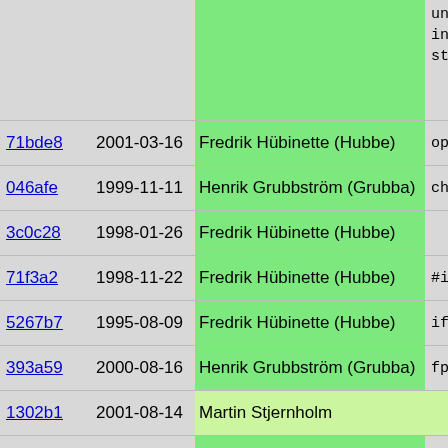| hash | date | author | code |
| --- | --- | --- | --- |
|  |  |  | union ldp
int args,
struct sva |
| 71bde8 | 2001-03-16 | Fredrik Hübinette (Hubbe) | optimize_n |
| 046afe | 1999-11-11 | Henrik Grubbström (Grubba) | check_tree |
| 3c0c28 | 1998-01-26 | Fredrik Hübinette (Hubbe) |  |
| 71f3a2 | 1998-11-22 | Fredrik Hübinette (Hubbe) | #ifdef PIKE_ |
| 5267b7 | 1995-08-09 | Fredrik Hübinette (Hubbe) | if(a_flag |
| 393a59 | 2000-08-16 | Henrik Grubbström (Grubba) | fprintf( |
| 1302b1 | 2001-08-14 | Martin Stjernholm |  |
| 5267b7 | 1995-08-09 | Fredrik Hübinette (Hubbe) | #endif |
| 329cc0 | 1997-02-17 | Fredrik Hübinette (Hubbe) | args=count
if(args <
{
  args=~ar
  vargs=ID
}else{
  vargs=0,
} |
| 8322b6 | 2000-05-08 | Fredrik Hübinette (Hubbe) |  |